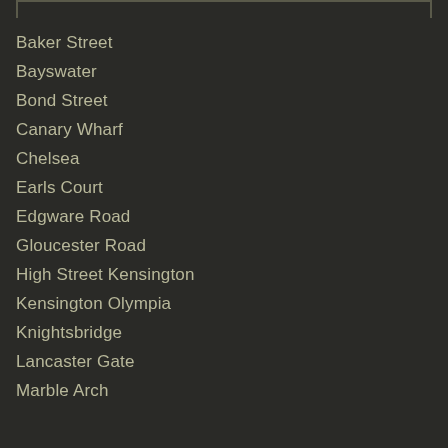Baker Street
Bayswater
Bond Street
Canary Wharf
Chelsea
Earls Court
Edgware Road
Gloucester Road
High Street Kensington
Kensington Olympia
Knightsbridge
Lancaster Gate
Marble Arch